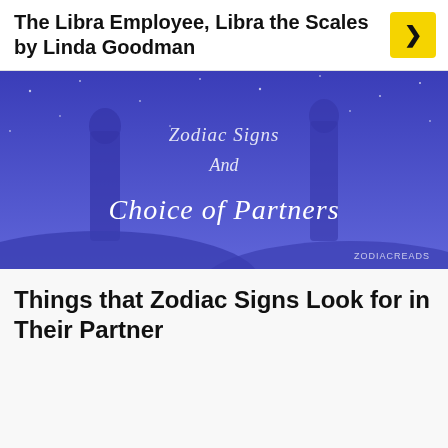The Libra Employee, Libra the Scales by Linda Goodman
[Figure (illustration): Blue/purple illustrated book cover or banner image with cursive white text reading 'Zodiac Signs And Choice of Partners', with watermark 'ZodiacReads' in bottom right corner.]
Things that Zodiac Signs Look for in Their Partner